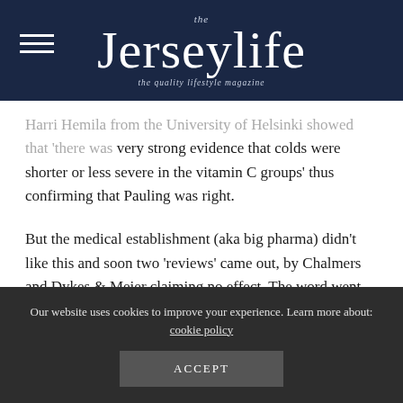the Jerseylife — the quality lifestyle magazine
Harri Hemila from the University of Helsinki showed that 'there was very strong evidence that colds were shorter or less severe in the vitamin C groups' thus confirming that Pauling was right.
But the medical establishment (aka big pharma) didn't like this and soon two 'reviews' came out, by Chalmers and Dykes & Meier claiming no effect. The word went out – vitamin C doesn't work. The main flaw was that, by including very low dose studies, down to 25mg a day, and fudging the maths, they could eliminate a statistical effect.
Professor Harri Hemila then published the most comprehensive
Our website uses cookies to improve your experience. Learn more about: cookie policy